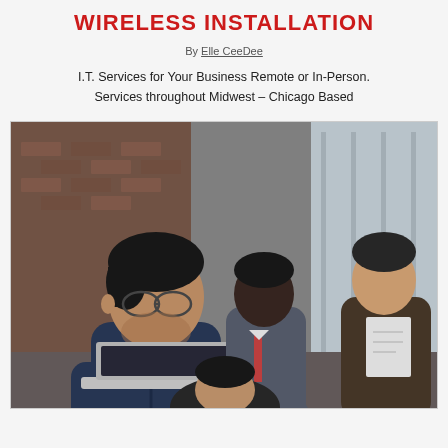WIRELESS INSTALLATION
By Elle CeeDee
I.T. Services for Your Business Remote or In-Person. Services throughout Midwest – Chicago Based
[Figure (photo): Four business professionals in an office setting: a man in dark blue shirt looking down at a laptop in foreground, with three other men in the background including one reviewing a document, in a modern office with brick wall and large windows.]